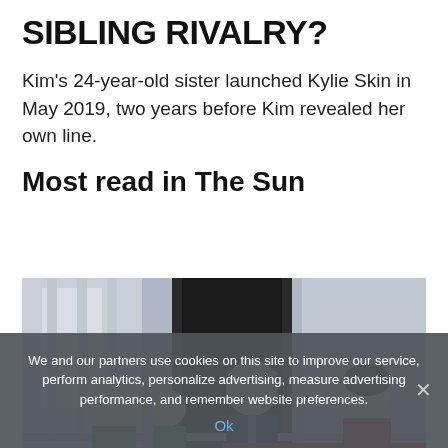SIBLING RIVALRY?
Kim's 24-year-old sister launched Kylie Skin in May 2019, two years before Kim revealed her own line.
Most read in The Sun
[Figure (photo): Photo of members of the British royal family standing on a balcony, including an older man on the left, a man in a navy suit in the center, and a woman in red on the right.]
We and our partners use cookies on this site to improve our service, perform analytics, personalize advertising, measure advertising performance, and remember website preferences.
Ok